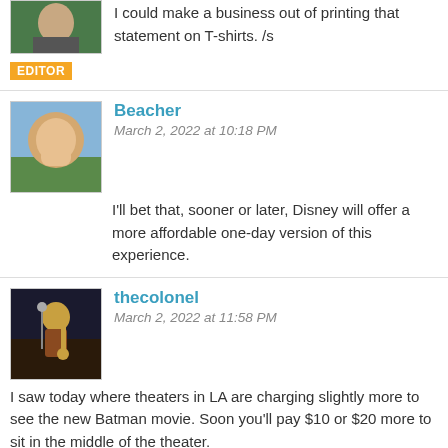I could make a business out of printing that statement on T-shirts. /s
[Figure (photo): Editor avatar with orange EDITOR badge below]
Beacher
March 2, 2022 at 10:18 PM

I'll bet that, sooner or later, Disney will offer a more affordable one-day version of this experience.
[Figure (photo): Avatar showing hand making shaka sign]
thecolonel
March 2, 2022 at 11:58 PM

I saw today where theaters in LA are charging slightly more to see the new Batman movie. Soon you'll pay $10 or $20 more to sit in the middle of the theater.

I was a middle class kid and my family would go stay at the contemporary hotel for five nights. Now the bill would be more than your mortgage.
[Figure (photo): Avatar showing a musician playing saxophone on stage]